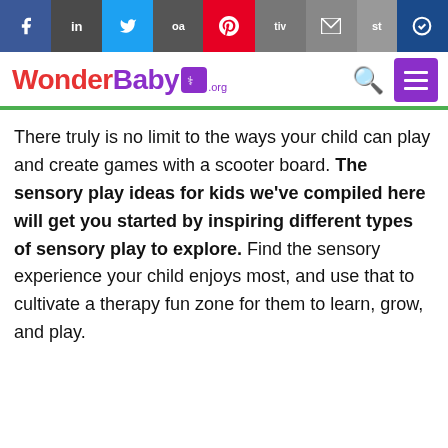WonderBaby.org — social share bar and site navigation
There truly is no limit to the ways your child can play and create games with a scooter board. The sensory play ideas for kids we've compiled here will get you started by inspiring different types of sensory play to explore. Find the sensory experience your child enjoys most, and use that to cultivate a therapy fun zone for them to learn, grow, and play.